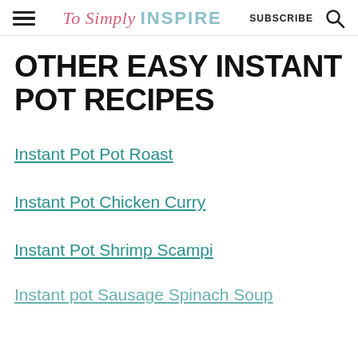To Simply INSPIRE | SUBSCRIBE
OTHER EASY INSTANT POT RECIPES
Instant Pot Pot Roast
Instant Pot Chicken Curry
Instant Pot Shrimp Scampi
Instant pot Sausage Spinach Soup